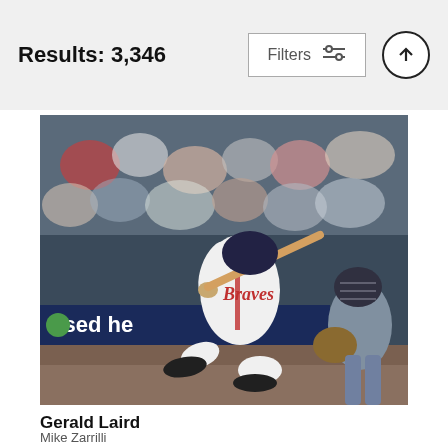Results: 3,346
[Figure (screenshot): UI filter button with sliders icon and upward arrow circle button in header bar]
[Figure (photo): Baseball player in Atlanta Braves white uniform swinging bat at night game, catcher in grey uniform crouching behind, crowd in background, 'used he' advertisement banner visible]
Gerald Laird
Mike Zarrilli
$9.62